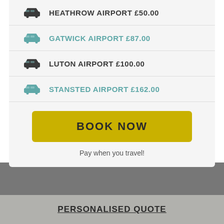HEATHROW AIRPORT £50.00
GATWICK AIRPORT £87.00
LUTON AIRPORT £100.00
STANSTED AIRPORT £162.00
BOOK NOW
Pay when you travel!
PERSONALISED QUOTE